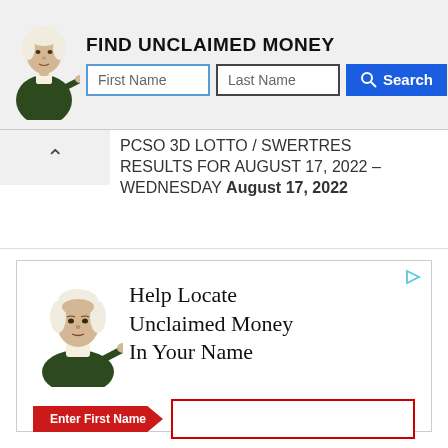[Figure (screenshot): Top advertisement banner for PeopleLooker unclaimed money search with mascot (George Washington illustration), 'FIND UNCLAIMED MONEY' title, First Name and Last Name input fields, and a blue Search button. PeopleLooker branding top right.]
PCSO 3D LOTTO / SWERTRES RESULTS FOR AUGUST 17, 2022 – WEDNESDAY August 17, 2022
[Figure (screenshot): Advertisement box: 'Help Locate Unclaimed Money In Your Name' with George Washington mascot illustration, Enter First Name red labeled input (red border), Last Name input, and a blue 'Start Search' button. PeopleLooker footer text.]